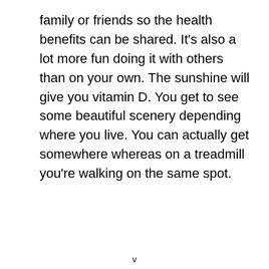family or friends so the health benefits can be shared. It's also a lot more fun doing it with others than on your own. The sunshine will give you vitamin D. You get to see some beautiful scenery depending where you live. You can actually get somewhere whereas on a treadmill you're walking on the same spot.
v